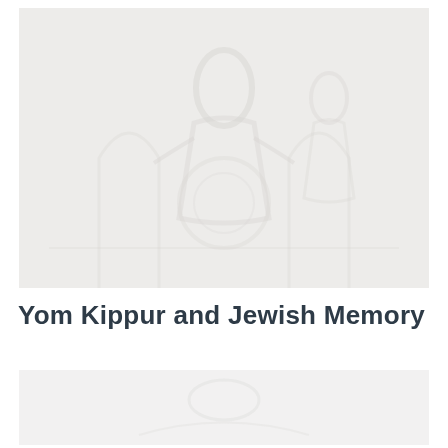[Figure (illustration): A faint, light-toned watermark-style illustration occupying the upper portion of the page, showing vague figures or religious scene in very pale gray tones on a light background.]
Yom Kippur and Jewish Memory
[Figure (illustration): A second faint illustration in the lower portion of the page, similar pale gray tones, partially visible.]